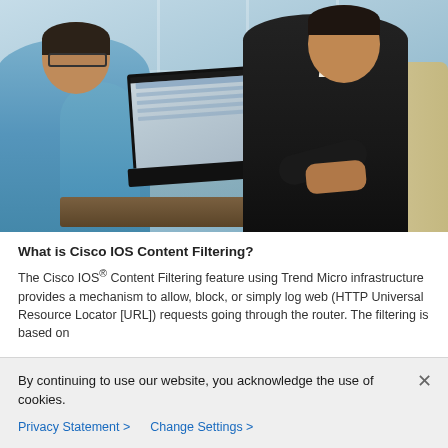[Figure (photo): Two businessmen in a meeting. One in a blue shirt on the left, another in a dark suit on the right holding a laptop. They are seated near large windows with a mountain/outdoor background.]
What is Cisco IOS Content Filtering?
The Cisco IOS® Content Filtering feature using Trend Micro infrastructure provides a mechanism to allow, block, or simply log web (HTTP Universal Resource Locator [URL]) requests going through the router. The filtering is based on
By continuing to use our website, you acknowledge the use of cookies.
Privacy Statement >   Change Settings >